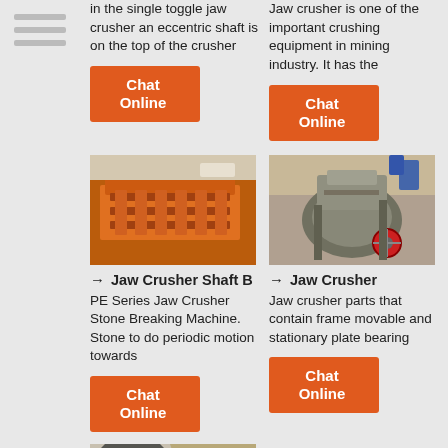[Figure (illustration): Navigation menu icon with three horizontal lines]
in the single toggle jaw crusher an eccentric shaft is on the top of the crusher
Jaw crusher is one of the important crushing equipment in mining industry. It has the
Chat Online
Chat Online
[Figure (photo): Orange jaw crusher shaft machine, industrial equipment]
[Figure (photo): Jaw crusher machine with red wheel, industrial mining equipment]
→ Jaw Crusher Shaft B
→ Jaw Crusher
PE Series Jaw Crusher Stone Breaking Machine. Stone to do periodic motion towards
Jaw crusher parts that contain frame movable and stationary plate bearing
Chat Online
Chat Online
[Figure (photo): Industrial crusher plant facility with conveyor belts on hillside, partially visible]